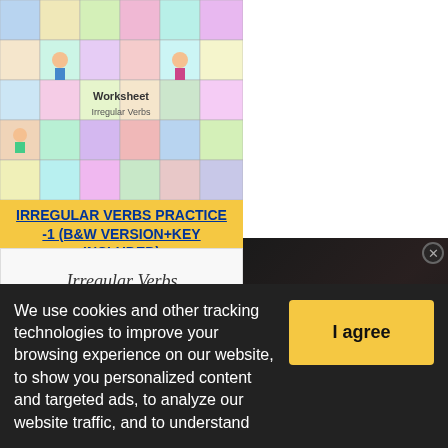[Figure (illustration): Colorful worksheet thumbnail showing irregular verbs practice with cartoon illustrations of people doing various activities in a grid layout]
IRREGULAR VERBS PRACTICE -1 (B&W VERSION+KEY INCLUDED)
Level: elementary
Age: 12-14
Downloads: 685
[Figure (illustration): Black and white worksheet showing 'Irregular Verbs' with cartoon figures and blank lines for practice]
[Figure (screenshot): Video advertisement overlay with dark background showing 'Salt Substitutes Could Help Reduce Risk of Stroke and Heart Conditions' with a play button and close (X) button]
We use cookies and other tracking technologies to improve your browsing experience on our website, to show you personalized content and targeted ads, to analyze our website traffic, and to understand
I agree